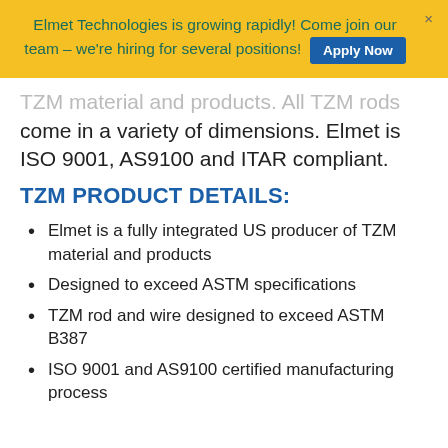Elmet Technologies is growing rapidly! Come join our team – we're hiring for several positions! Apply Now
TZM material and products. All TZM rods come in a variety of dimensions. Elmet is ISO 9001, AS9100 and ITAR compliant.
TZM PRODUCT DETAILS:
Elmet is a fully integrated US producer of TZM material and products
Designed to exceed ASTM specifications
TZM rod and wire designed to exceed ASTM B387
ISO 9001 and AS9100 certified manufacturing process